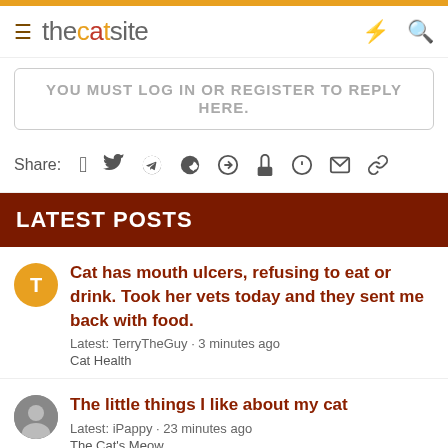thecatsite
YOU MUST LOG IN OR REGISTER TO REPLY HERE.
Share: (social icons: Facebook, Twitter, Reddit, Pinterest, Tumblr, WhatsApp, Email, Link)
LATEST POSTS
Cat has mouth ulcers, refusing to eat or drink. Took her vets today and they sent me back with food.
Latest: TerryTheGuy · 3 minutes ago
Cat Health
The little things I like about my cat
Latest: iPappy · 23 minutes ago
The Cat's Meow
Fuel prices in your area
Latest: iPappy · 25 minutes ago